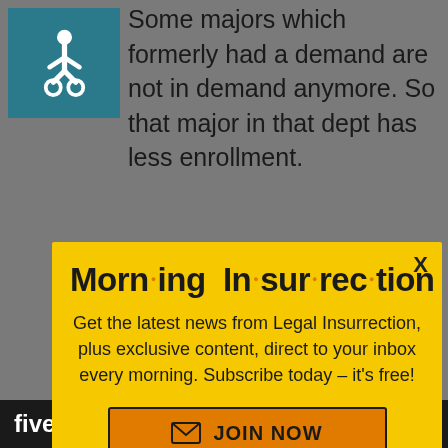[Figure (illustration): Blue background box with white wheelchair accessibility icon]
Some majors which formerly had a demand are not in demand anymore. So that major in that dept has less enrollment.
[Figure (infographic): Yellow modal popup for Morning Insurrection newsletter with orange JOIN NOW button]
State university.
[Figure (screenshot): Fiverr advertisement banner with Start Now button]